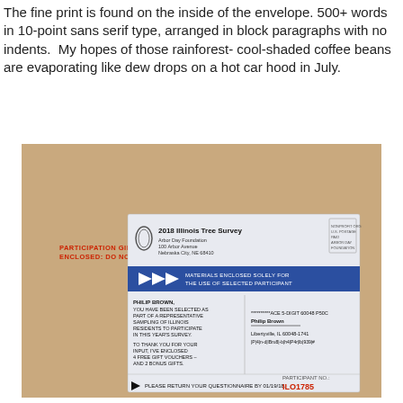The fine print is found on the inside of the envelope. 500+ words in 10-point sans serif type, arranged in block paragraphs with no indents.  My hopes of those rainforest-cool-shaded coffee beans are evaporating like dew drops on a hot car hood in July.
[Figure (photo): Photo of a brown kraft paper envelope with red stamp text 'PARTICIPATION GIFTS ENCLOSED: DO NOT BEND' and a white mailing label for '2018 Illinois Tree Survey' from Arbor Day Foundation addressed to Philip Brown in Libertyville IL. A blue bar reads 'MATERIALS ENCLOSED SOLELY FOR THE USE OF SELECTED PARTICIPANT'. Bottom reads 'PLEASE RETURN YOUR QUESTIONNAIRE BY 01/19/18. PARTICIPANT NO.: ILO1785']